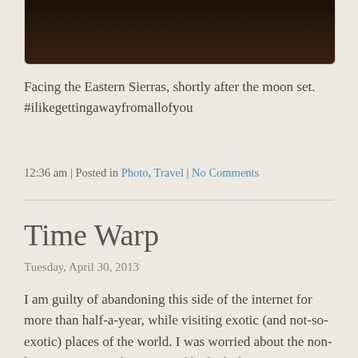[Figure (photo): Partial view of a dark night landscape photo cropped at the top of the page, showing the Eastern Sierras]
Facing the Eastern Sierras, shortly after the moon set. #ilikegettingawayfromallofyou
12:36 am | Posted in Photo, Travel | No Comments
Time Warp
Tuesday, April 30, 2013
I am guilty of abandoning this side of the internet for more than half-a-year, while visiting exotic (and not-so-exotic) places of the world. I was worried about the non-linear sequence of events, and had a little maintenance to do in the back-end of things. Pictures are now going to be bigger, and the layout is dynamic and will adjust to most screen sizes (even tablets and